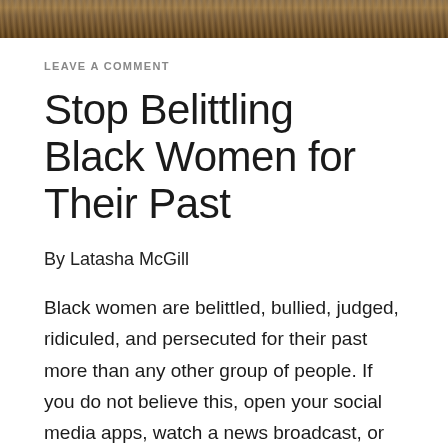[Figure (photo): Decorative photo strip at top of page showing a close-up of golden/brown natural texture (possibly wheat or dry grass)]
LEAVE A COMMENT
Stop Belittling Black Women for Their Past
By Latasha McGill
Black women are belittled, bullied, judged, ridiculed, and persecuted for their past more than any other group of people. If you do not believe this, open your social media apps, watch a news broadcast, or sit quietly for five minutes and reflect on a recent conversation you have had with someone. Often we